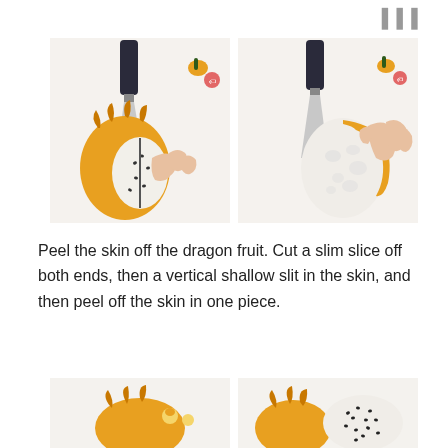[Figure (photo): Two side-by-side photos showing dragon fruit being peeled. Left photo: yellow dragon fruit cut in half with knife nearby and hand peeling skin. Right photo: hand peeling yellow skin off white dragon fruit flesh with knife in background.]
Peel the skin off the dragon fruit. Cut a slim slice off both ends, then a vertical shallow slit in the skin, and then peel off the skin in one piece.
[Figure (photo): Two side-by-side photos at bottom of page showing dragon fruit pieces. Left photo: yellow dragon fruit pieces with small decorative items. Right photo: yellow dragon fruit next to white dragon fruit flesh with black seeds visible.]